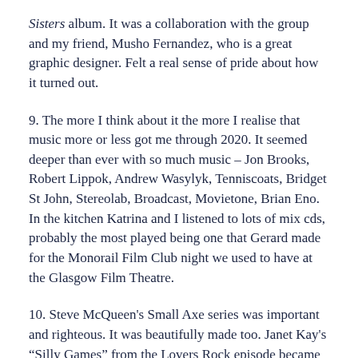Sisters album. It was a collaboration with the group and my friend, Musho Fernandez, who is a great graphic designer. Felt a real sense of pride about how it turned out.
9. The more I think about it the more I realise that music more or less got me through 2020. It seemed deeper than ever with so much music – Jon Brooks, Robert Lippok, Andrew Wasylyk, Tenniscoats, Bridget St John, Stereolab, Broadcast, Movietone, Brian Eno. In the kitchen Katrina and I listened to lots of mix cds, probably the most played being one that Gerard made for the Monorail Film Club night we used to have at the Glasgow Film Theatre.
10. Steve McQueen's Small Axe series was important and righteous. It was beautifully made too. Janet Kay's "Silly Games" from the Lovers Rock episode became an